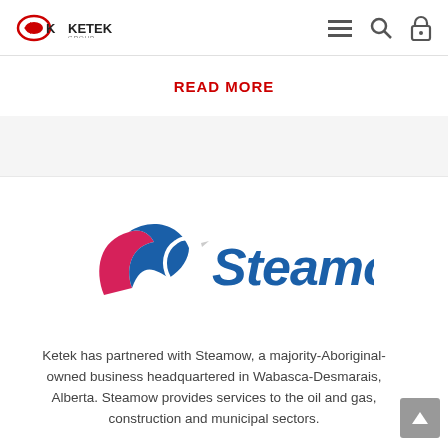KETEK GROUP — navigation header with menu, search, and lock icons
READ MORE
[Figure (logo): Steamow company logo: stylized S shape in blue and pink with a swan/bird motif, followed by the word 'Steamow' in bold blue italic text]
Ketek has partnered with Steamow, a majority-Aboriginal-owned business headquartered in Wabasca-Desmarais, Alberta. Steamow provides services to the oil and gas, construction and municipal sectors.